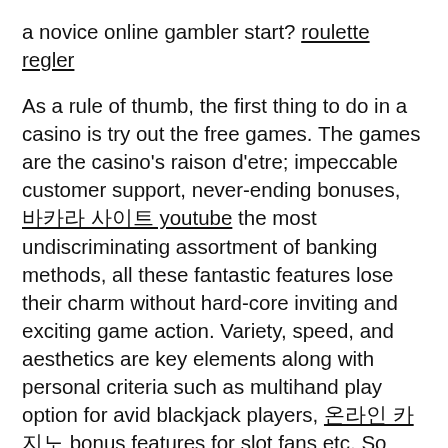a novice online gambler start? roulette regler

As a rule of thumb, the first thing to do in a casino is try out the free games. The games are the casino's raison d'etre; impeccable customer support, never-ending bonuses, 바카라 사이트 youtube the most undiscriminating assortment of banking methods, all these fantastic features lose their charm without hard-core inviting and exciting game action. Variety, speed, and aesthetics are key elements along with personal criteria such as multihand play option for avid blackjack players, 온라인 카지노 bonus features for slot fans etc. So before you start waddling the grey details of banking and help, take a leap to the practice games to see if you and the casino actually click.